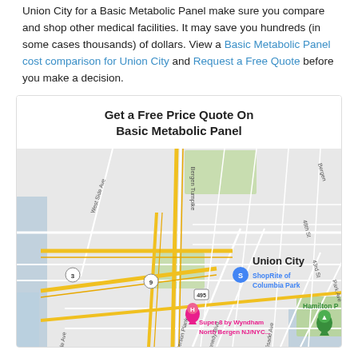Union City for a Basic Metabolic Panel make sure you compare and shop other medical facilities. It may save you hundreds (in some cases thousands) of dollars. View a Basic Metabolic Panel cost comparison for Union City and Request a Free Quote before you make a decision.
Get a Free Price Quote On Basic Metabolic Panel
[Figure (map): Google Maps view of Union City, NJ area showing Bergen Turnpike, West Side Ave, Route 3, Route 9, Route 495, Kennedy Blvd, Paterson Plank Rd, 43rd St, 48th St, Park Ave, Palisade Ave. Markers include ShopRite of Columbia Park (blue), Super 8 by Wyndham North Bergen NJ/NYC... (pink/red), and Hamilton Park (green).]